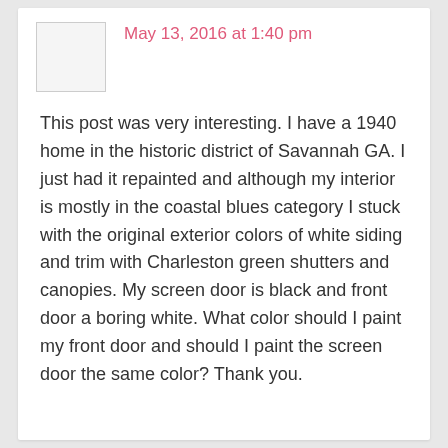May 13, 2016 at 1:40 pm
This post was very interesting. I have a 1940 home in the historic district of Savannah GA. I just had it repainted and although my interior is mostly in the coastal blues category I stuck with the original exterior colors of white siding and trim with Charleston green shutters and canopies. My screen door is black and front door a boring white. What color should I paint my front door and should I paint the screen door the same color? Thank you.